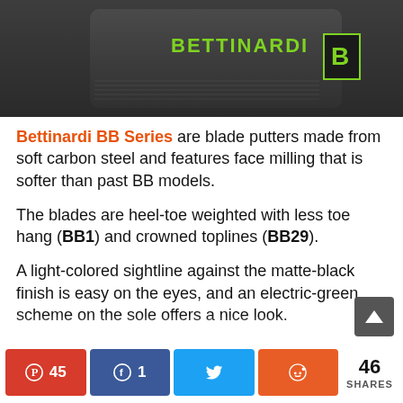[Figure (photo): Bettinardi golf putter head shown from above on a dark matte-black background with the Bettinardi brand name and logo in electric green]
Bettinardi BB Series are blade putters made from soft carbon steel and features face milling that is softer than past BB models.
The blades are heel-toe weighted with less toe hang (BB1) and crowned toplines (BB29).
A light-colored sightline against the matte-black finish is easy on the eyes, and an electric-green scheme on the sole offers a nice look.
Crafted for those who expect a timeless design, the BB1 embodies the tradition of a classic heel toe weighted blade now with a Midnight Black...